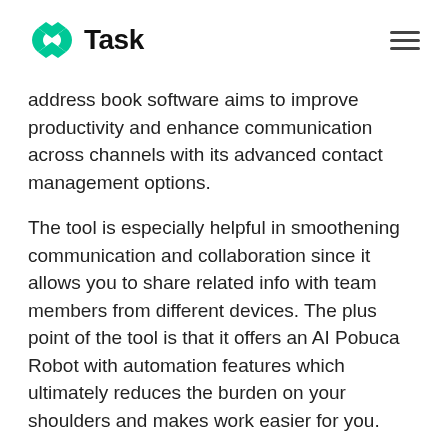nTask
address book software aims to improve productivity and enhance communication across channels with its advanced contact management options.
The tool is especially helpful in smoothening communication and collaboration since it allows you to share related info with team members from different devices. The plus point of the tool is that it offers an AI Pobuca Robot with automation features which ultimately reduces the burden on your shoulders and makes work easier for you.